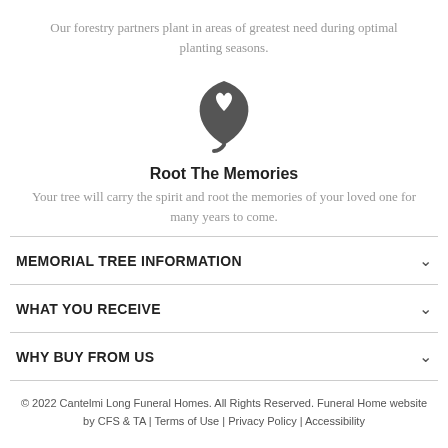Our forestry partners plant in areas of greatest need during optimal planting seasons.
[Figure (illustration): A dark gray leaf icon with a heart cutout in the center]
Root The Memories
Your tree will carry the spirit and root the memories of your loved one for many years to come.
MEMORIAL TREE INFORMATION
WHAT YOU RECEIVE
WHY BUY FROM US
© 2022 Cantelmi Long Funeral Homes. All Rights Reserved. Funeral Home website by CFS & TA | Terms of Use | Privacy Policy | Accessibility